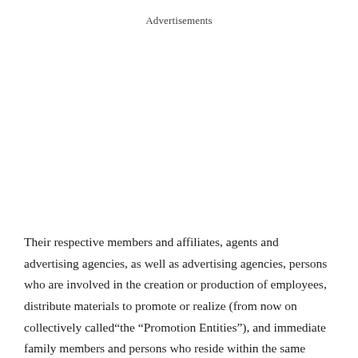Advertisements
Their respective members and affiliates, agents and advertising agencies, as well as advertising agencies, persons who are involved in the creation or production of employees, distribute materials to promote or realize (from now on collectively called“the “Promotion Entities”), and immediate family members and persons who reside within the same household as individuals falling into any or more of